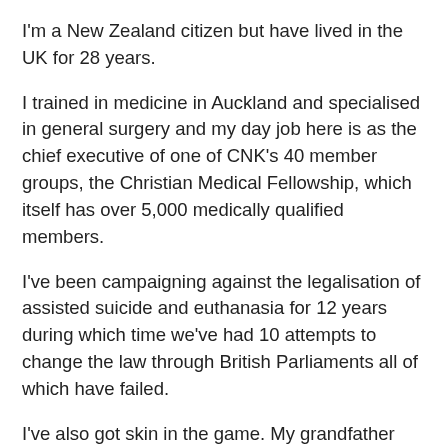I'm a New Zealand citizen but have lived in the UK for 28 years.
I trained in medicine in Auckland and specialised in general surgery and my day job here is as the chief executive of one of CNK's 40 member groups, the Christian Medical Fellowship, which itself has over 5,000 medically qualified members.
I've been campaigning against the legalisation of assisted suicide and euthanasia for 12 years during which time we've had 10 attempts to change the law through British Parliaments all of which have failed.
I've also got skin in the game. My grandfather died from an aggressive cancer with spinal secondaries with pain that was very difficult to control and my father died from a very rapidly progressive dementia, both in Auckland. I've just been back to NZ with my wife over Christmas to place her elderly parents, both